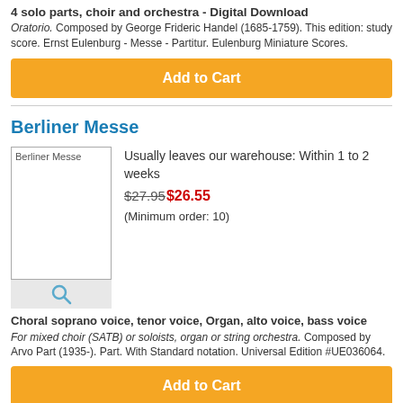4 solo parts, choir and orchestra - Digital Download
Oratorio. Composed by George Frideric Handel (1685-1759). This edition: study score. Ernst Eulenburg - Messe - Partitur. Eulenburg Miniature Scores.
Add to Cart
Berliner Messe
[Figure (photo): Product image placeholder for Berliner Messe with search icon below]
Usually leaves our warehouse: Within 1 to 2 weeks
$27.95$26.55
(Minimum order: 10)
Choral soprano voice, tenor voice, Organ, alto voice, bass voice
For mixed choir (SATB) or soloists, organ or string orchestra. Composed by Arvo Part (1935-). Part. With Standard notation. Universal Edition #UE036064.
Add to Cart